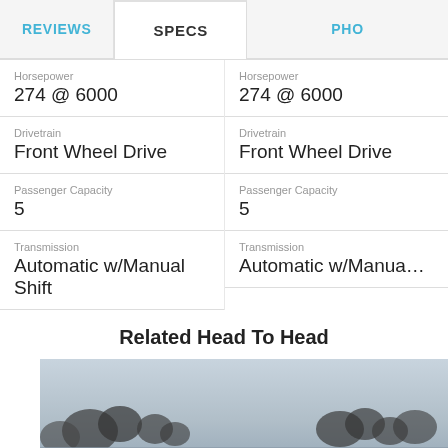REVIEWS | SPECS | PHO...
| Spec | Value | Spec | Value |
| --- | --- | --- | --- |
| Horsepower | 274 @ 6000 | Horsepower | 274 @ 6000 |
| Drivetrain | Front Wheel Drive | Drivetrain | Front Wheel Drive |
| Passenger Capacity | 5 | Passenger Capacity | 5 |
| Transmission | Automatic w/Manual Shift | Transmission | Automatic w/Manual Shift |
Related Head To Head
[Figure (photo): Photo of a car with trees and overcast sky in the background]